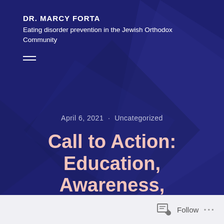DR. MARCY FORTA
Eating disorder prevention in the Jewish Orthodox Community
April 6, 2021 · Uncategorized
Call to Action: Education, Awareness, & Prevention
Follow